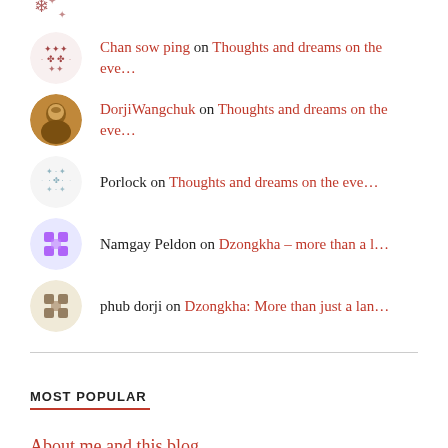Chan sow ping on Thoughts and dreams on the eve...
DorjiWangchuk on Thoughts and dreams on the eve...
Porlock on Thoughts and dreams on the eve...
Namgay Peldon on Dzongkha – more than a l...
phub dorji on Dzongkha: More than just a lan...
MOST POPULAR
About me and this blog